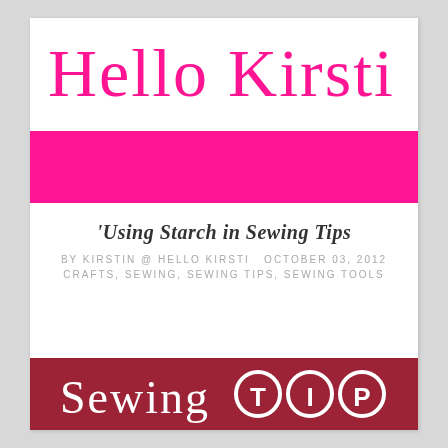Hello Kirsti
[Figure (other): Solid hot pink/magenta horizontal bar]
'Using Starch in Sewing Tips
BY KIRSTIN @ HELLO KIRSTI   OCTOBER 03, 2012
CRAFTS, SEWING, SEWING TIPS, SEWING TOOLS
[Figure (other): Dark red banner with 'Sewing TIP' text in white cursive and circular letter badges]